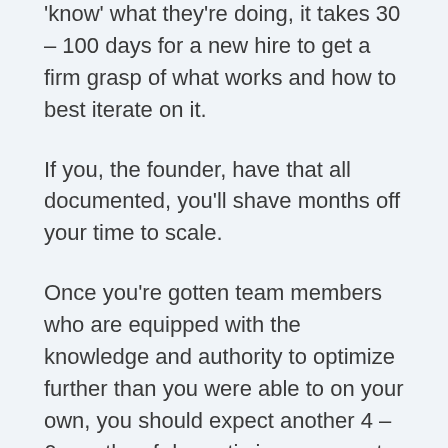'know' what they're doing, it takes 30 – 100 days for a new hire to get a firm grasp of what works and how to best iterate on it.
If you, the founder, have that all documented, you'll shave months off your time to scale.
Once you're gotten team members who are equipped with the knowledge and authority to optimize further than you were able to on your own, you should expect another 4 – 6 months of dramatic improvement before you start to plateau again.
That, usually, gets you to $2MM+ ARR.
It's a long and winding road, but I've been down it